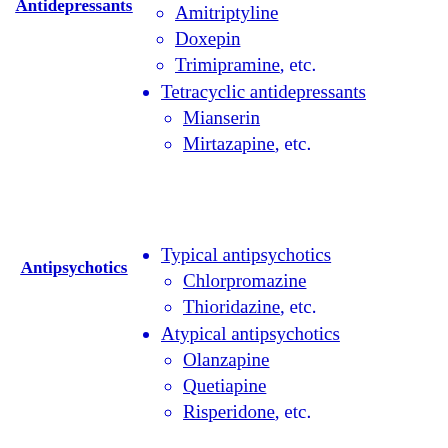Antidepressants
Amitriptyline
Doxepin
Trimipramine, etc.
Tetracyclic antidepressants
Mianserin
Mirtazapine, etc.
Antipsychotics
Typical antipsychotics
Chlorpromazine
Thioridazine, etc.
Atypical antipsychotics
Olanzapine
Quetiapine
Risperidone, etc.
α2-Adrenergic
Clonidine
Detomidine
Dexmedetomidine
Lofexidine
Medetomidine
Romifidine
Tizanidine
Xylazine
Trazodone
Tricyclic antidepressants